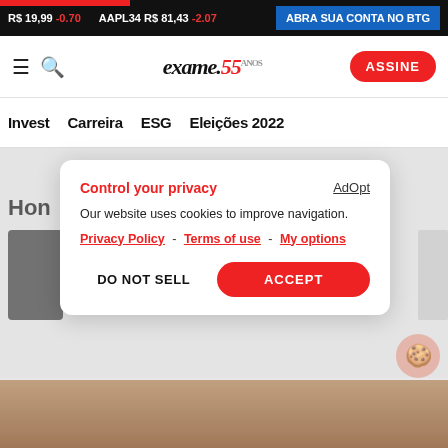R$ 19,99 -0.70  AAPL34 R$ 81,43 -2.07  ABRA SUA CONTA NO BTG
[Figure (logo): Exame magazine logo with 55 anos anniversary mark]
ASSINE
Invest  Carreira  ESG  Eleições 2022
Control your privacy
Our website uses cookies to improve navigation.
Privacy Policy - Terms of use - My options
DO NOT SELL  ACCEPT
AdOpt